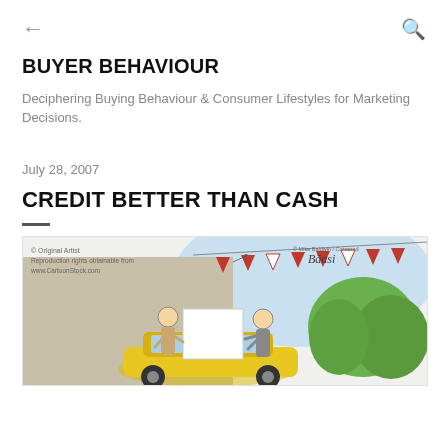← BUYER BEHAVIOUR Q
BUYER BEHAVIOUR
Deciphering Buying Behaviour & Consumer Lifestyles for Marketing Decisions.
July 28, 2007
CREDIT BETTER THAN CASH
[Figure (illustration): Cartoon illustration of a car dealership scene with two figures standing at a car, bunting flags above, trees in background. Watermark text reads '© Original Artist Reproduction rights obtainable from www.CartoonStock.com' and '© Mike Baldwin / Cornered' with a signature.]